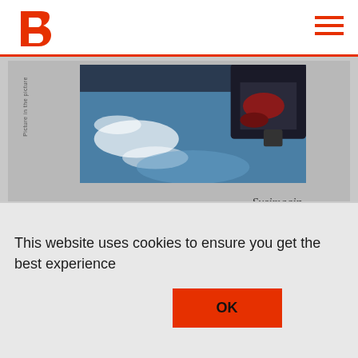B logo header with hamburger menu
[Figure (photo): A book or artwork showing a photograph of water/reflections with dark and reddish elements. The word 'Susimagin' appears in italic below the photo. Vertical text on the left side reads 'Picture in the picture'. Grey background surrounds the book.]
Picture in the picture
This website uses cookies to ensure you get the best experience
OK